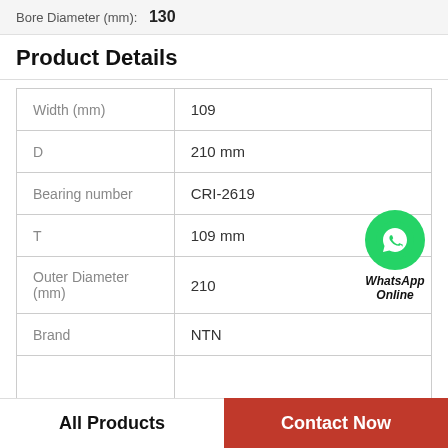Bore Diameter (mm): 130
Product Details
|  |  |
| --- | --- |
| Width (mm) | 109 |
| D | 210 mm |
| Bearing number | CRI-2619 |
| T | 109 mm |
| Outer Diameter (mm) | 210 |
| Brand | NTN |
[Figure (logo): WhatsApp Online button with green circle phone icon and bold italic text 'WhatsApp Online']
All Products
Contact Now